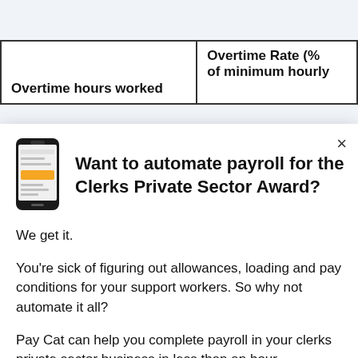| Overtime hours worked | Overtime Rate (% of minimum hourly |
| --- | --- |
[Figure (illustration): Smartphone/mobile phone icon showing a payroll app screen with yellow/gold accents]
Want to automate payroll for the Clerks Private Sector Award?
We get it.
You're sick of figuring out allowances, loading and pay conditions for your support workers. So why not automate it all?
Pay Cat can help you complete payroll in your clerks private sector business in less than an hour.
We can help...